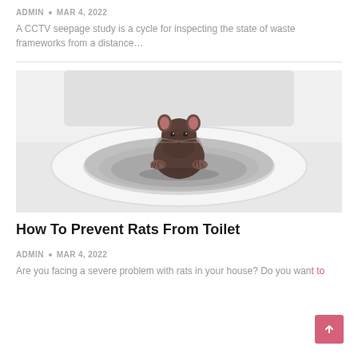ADMIN • MAR 4, 2022
A CCTV seepage study is a cycle for inspecting the state of waste frameworks from a distance…
[Figure (photo): A rat sitting on the rim of a white toilet bowl, facing the camera]
How To Prevent Rats From Toilet
ADMIN • MAR 4, 2022
Are you facing a severe problem with rats in your house? Do you want to…